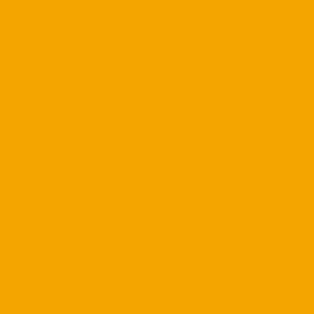Posted by: Felipe | September 15...
[Figure (illustration): Avatar icon - blue globe/sphere pattern]
That's why da "U" is down. Th... willing to do what it takes to d... whole crew. They're responsi...
Posted by: CoCane | September 15...
[Figure (illustration): Avatar icon - blue starburst/snowflake pattern]
they didn't like him because h... kids.
Posted by: Zakkee | September 15...
[Figure (illustration): Avatar icon - blue starburst/snowflake pattern]
G-Tech is gonna steamroll ov... yourselves now so you won't...
Posted by: raizecane | September...
« Previous...
The comments to this entry are closed.